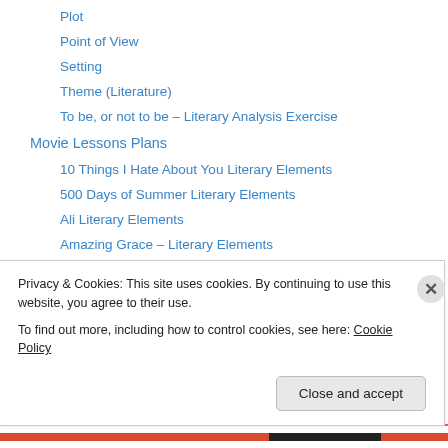Plot
Point of View
Setting
Theme (Literature)
To be, or not to be – Literary Analysis Exercise
Movie Lessons Plans
10 Things I Hate About You Literary Elements
500 Days of Summer Literary Elements
Ali Literary Elements
Amazing Grace – Literary Elements
Amores Perros – Literary Elements
Apocalypto – Literary Elements
Avatar – Role-Play – Learning Persuasion
Privacy & Cookies: This site uses cookies. By continuing to use this website, you agree to their use.
To find out more, including how to control cookies, see here: Cookie Policy